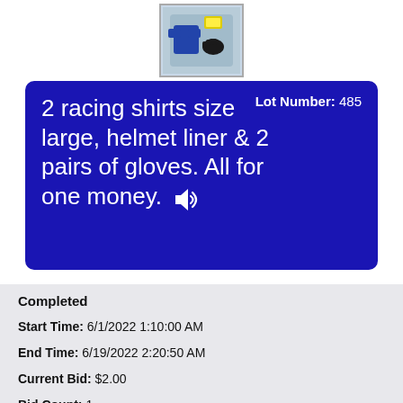[Figure (photo): Product photo of racing shirts, helmet liner and gloves in a box]
2 racing shirts size large, helmet liner & 2 pairs of gloves. All for one money.
Lot Number: 485
Completed
Start Time: 6/1/2022 1:10:00 AM
End Time: 6/19/2022 2:20:50 AM
Current Bid: $2.00
Bid Count: 1
High Bidder: B****1
Starting Bid: $2.00